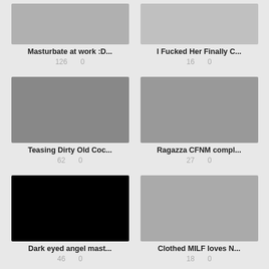[Figure (photo): Partial thumbnail - Masturbate at work video]
Masturbate at work :D...
126   0
[Figure (photo): Partial thumbnail - I Fucked Her Finally video]
I Fucked Her Finally C...
16   0
[Figure (photo): Thumbnail - Teasing Dirty Old Coc... video]
Teasing Dirty Old Coc...
62   0
[Figure (photo): Thumbnail - Ragazza CFNM compl... video]
Ragazza CFNM compl...
27   0
[Figure (photo): Black thumbnail - Dark eyed angel mast... video]
Dark eyed angel mast...
46   0
[Figure (photo): Thumbnail - Clothed MILF loves N... video]
Clothed MILF loves N...
18   0
[Figure (photo): Partial black thumbnail bottom row left]
[Figure (photo): Partial thumbnail bottom row right]